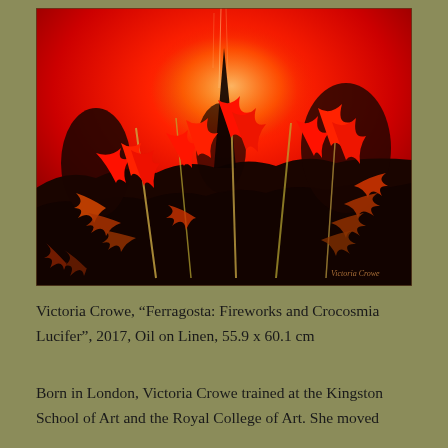[Figure (photo): Painting by Victoria Crowe: 'Ferragosta: Fireworks and Crocosmia Lucifer', 2017. Oil on linen depicting vivid red crocosmia flowers and dark foliage against a fiery red sky background.]
Victoria Crowe, “Ferragosta: Fireworks and Crocosmia Lucifer”, 2017, Oil on Linen, 55.9 x 60.1 cm
Born in London, Victoria Crowe trained at the Kingston School of Art and the Royal College of Art. She moved